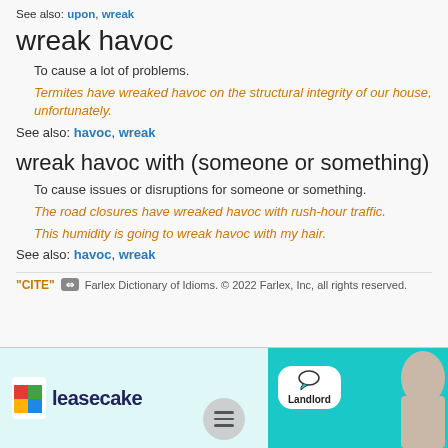See also: upon, wreak
wreak havoc
To cause a lot of problems.
Termites have wreaked havoc on the structural integrity of our house, unfortunately.
See also: havoc, wreak
wreak havoc with (someone or something)
To cause issues or disruptions for someone or something.
The road closures have wreaked havoc with rush-hour traffic.
This humidity is going to wreak havoc with my hair.
See also: havoc, wreak
"CITE" [icon] Farlex Dictionary of Idioms. © 2022 Farlex, Inc, all rights reserved.
[Figure (photo): Advertisement banner for Leasecake featuring logo and a person with a Landlord chat bubble on teal background]